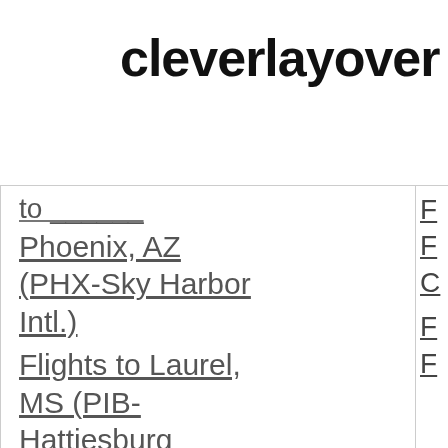cleverlayover
Phoenix, AZ (PHX-Sky Harbor Intl.)
Flights to Laurel, MS (PIB-Hattiesburg